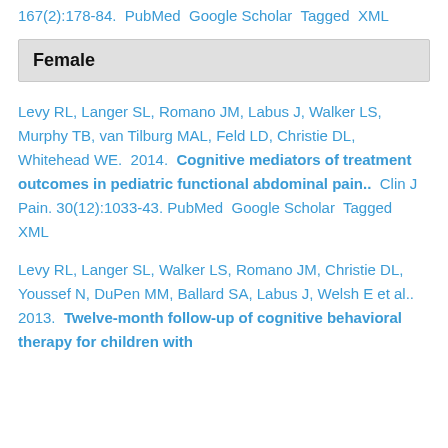167(2):178-84. PubMed  Google Scholar  Tagged  XML
Female
Levy RL, Langer SL, Romano JM, Labus J, Walker LS, Murphy TB, van Tilburg MAL, Feld LD, Christie DL, Whitehead WE.  2014.  Cognitive mediators of treatment outcomes in pediatric functional abdominal pain..  Clin J Pain. 30(12):1033-43. PubMed  Google Scholar  Tagged  XML
Levy RL, Langer SL, Walker LS, Romano JM, Christie DL, Youssef N, DuPen MM, Ballard SA, Labus J, Welsh E et al..  2013.  Twelve-month follow-up of cognitive behavioral therapy for children with